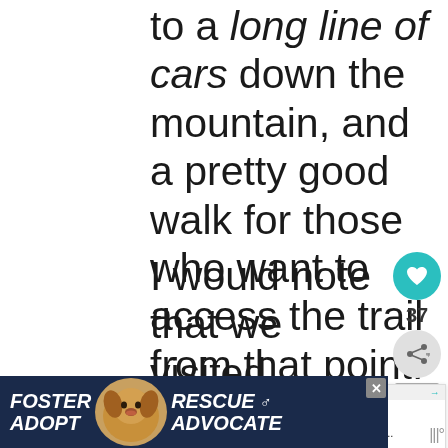to a long line of cars down the mountain, and a pretty good walk for those who want to access the trail from that point.
I would note that we visited during the fall, where we would expect traffic to be especially bad due to fall colors (it was), but on any island
[Figure (other): UI overlay: heart/like button showing 37 likes, share button, and 'What's Next' panel showing 'The Top 10 Things to D...']
[Figure (other): Advertisement banner: Foster / Adopt | dog image | Rescue & Advocate on dark blue background with close button]